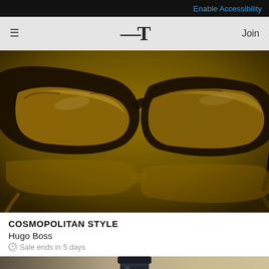Enable Accessibility
[Figure (illustration): Website navigation bar with hamburger menu icon on left, stylized T logo in center, Join text on right, on light gray background]
[Figure (photo): Close-up photograph of tortoiseshell eyeglasses reflected on a gold/amber background]
COSMOPOLITAN STYLE
Hugo Boss
Sale ends in 5 days
[Figure (photo): Partial view of a dark bottle neck against a beige/tan background]